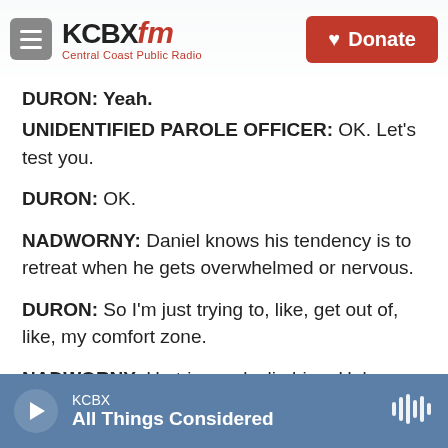KCBX FM Central Coast Public Radio | Donate
DURON: Yeah.
UNIDENTIFIED PAROLE OFFICER: OK. Let's test you.
DURON: OK.
NADWORNY: Daniel knows his tendency is to retreat when he gets overwhelmed or nervous.
DURON: So I'm just trying to, like, get out of, like, my comfort zone.
NADWORNY: He tries rock climbing. He's gone hiking. And he's found real joy at a club he'd never
KCBX — All Things Considered